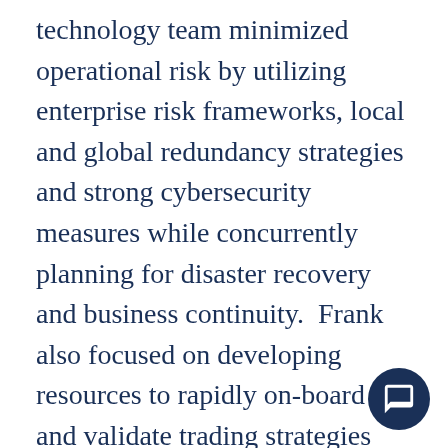technology team minimized operational risk by utilizing enterprise risk frameworks, local and global redundancy strategies and strong cybersecurity measures while concurrently planning for disaster recovery and business continuity.  Frank also focused on developing resources to rapidly on-board and validate trading strategies through deployment of a proprietary multi-tier, low-latency, high throughput trading eco-system.  This work led to launch and spin-off of Rival Systems as Ronin Capital commercialized its innova trading and risk management capabilities